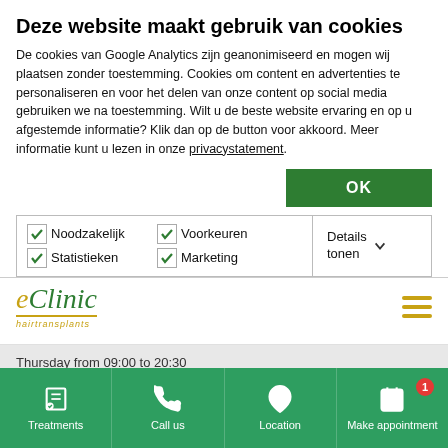Deze website maakt gebruik van cookies
De cookies van Google Analytics zijn geanonimiseerd en mogen wij plaatsen zonder toestemming. Cookies om content en advertenties te personaliseren en voor het delen van onze content op social media gebruiken we na toestemming. Wilt u de beste website ervaring en op u afgestemde informatie? Klik dan op de button voor akkoord. Meer informatie kunt u lezen in onze privacystatement.
OK
✓ Noodzakelijk  ✓ Voorkeuren  ✓ Statistieken  ✓ Marketing  Details tonen
[Figure (logo): eClinic hairtransplants logo in gold/green italic font]
Thursday from 09:00 to 20:30
eClinic
About
Treatments
Call us
Location
Make appointment